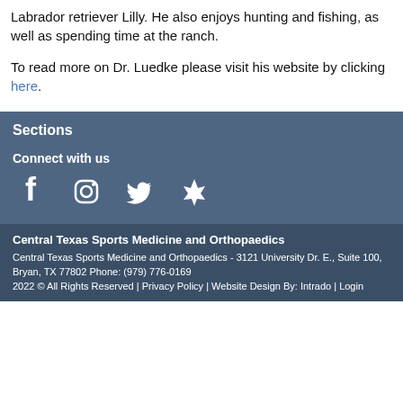Labrador retriever Lilly. He also enjoys hunting and fishing, as well as spending time at the ranch.
To read more on Dr. Luedke please visit his website by clicking here.
Sections
Connect with us
[Figure (other): Social media icons: Facebook, Instagram, Twitter, Yelp]
Central Texas Sports Medicine and Orthopaedics
Central Texas Sports Medicine and Orthopaedics - 3121 University Dr. E., Suite 100, Bryan, TX 77802 Phone: (979) 776-0169
2022 © All Rights Reserved | Privacy Policy | Website Design By: Intrado | Login